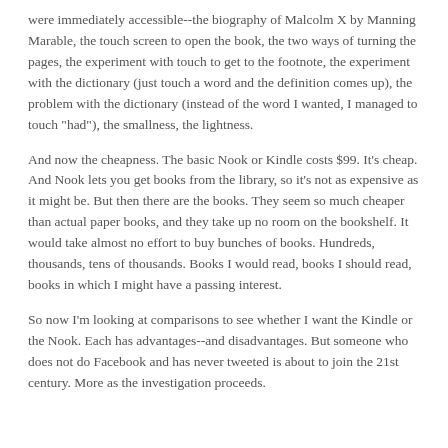were immediately accessible--the biography of Malcolm X by Manning Marable, the touch screen to open the book, the two ways of turning the pages, the experiment with touch to get to the footnote, the experiment with the dictionary (just touch a word and the definition comes up), the problem with the dictionary (instead of the word I wanted, I managed to touch "had"), the smallness, the lightness.
And now the cheapness. The basic Nook or Kindle costs $99. It's cheap. And Nook lets you get books from the library, so it's not as expensive as it might be. But then there are the books. They seem so much cheaper than actual paper books, and they take up no room on the bookshelf. It would take almost no effort to buy bunches of books. Hundreds, thousands, tens of thousands. Books I would read, books I should read, books in which I might have a passing interest.
So now I'm looking at comparisons to see whether I want the Kindle or the Nook. Each has advantages--and disadvantages. But someone who does not do Facebook and has never tweeted is about to join the 21st century. More as the investigation proceeds.